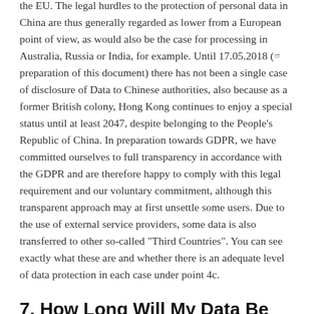the EU. The legal hurdles to the protection of personal data in China are thus generally regarded as lower from a European point of view, as would also be the case for processing in Australia, Russia or India, for example. Until 17.05.2018 (= preparation of this document) there has not been a single case of disclosure of Data to Chinese authorities, also because as a former British colony, Hong Kong continues to enjoy a special status until at least 2047, despite belonging to the People's Republic of China. In preparation towards GDPR, we have committed ourselves to full transparency in accordance with the GDPR and are therefore happy to comply with this legal requirement and our voluntary commitment, although this transparent approach may at first unsettle some users. Due to the use of external service providers, some data is also transferred to other so-called "Third Countries". You can see exactly what these are and whether there is an adequate level of data protection in each case under point 4c.
7. How Long Will My Data Be Stored?
Where you can see...